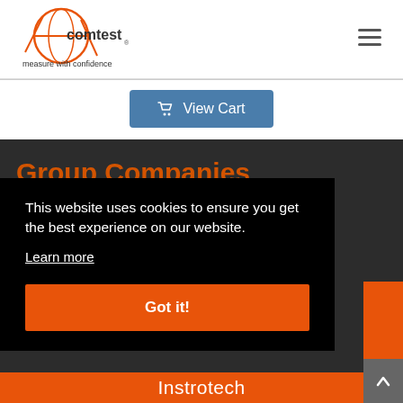[Figure (logo): Comtest logo with orange globe graphic and tagline 'measure with confidence']
View Cart
Group Companies
This website uses cookies to ensure you get the best experience on our website.
Learn more
Got it!
Instrotech